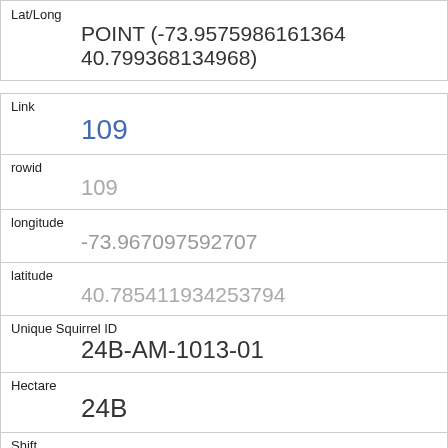| Field | Value |
| --- | --- |
| Lat/Long | POINT (-73.9575986161364 40.799368134968) |
| Link | 109 |
| rowid | 109 |
| longitude | -73.967097592707 |
| latitude | 40.785411934253794 |
| Unique Squirrel ID | 24B-AM-1013-01 |
| Hectare | 24B |
| Shift | AM |
| Date | 10132018 |
| Hectare Squirrel Number |  |